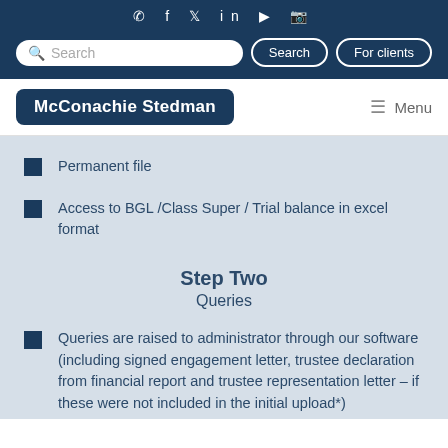McConachie Stedman — website header with social icons, search bar, navigation
Permanent file
Access to BGL /Class Super / Trial balance in excel format
Step Two
Queries
Queries are raised to administrator through our software (including signed engagement letter, trustee declaration from financial report and trustee representation letter – if these were not included in the initial upload*)